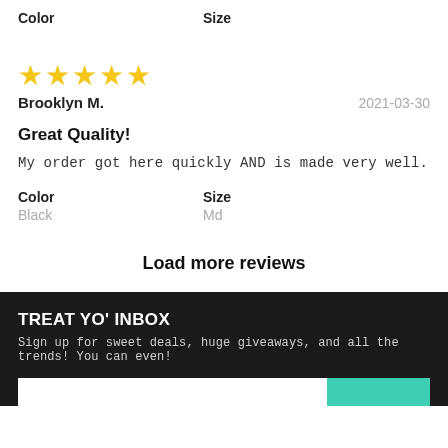Color    Size
[Figure (other): Five gold star rating]
Brooklyn M.    2021-03-30
Great Quality!
My order got here quickly AND is made very well.
Color    Size
Black    Md
Load more reviews
TREAT YO' INBOX
Sign up for sweet deals, huge giveaways, and all the trends! You can even!